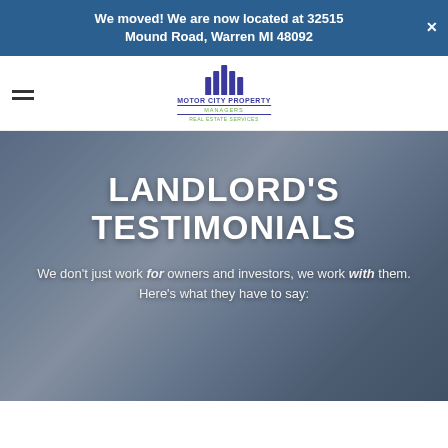We moved! We are now located at 32515 Mound Road, Warren MI 48092
[Figure (logo): Motor City Property Managers Real Estate Services logo with stylized building/bar icon in blue and green]
LANDLORD'S TESTIMONIALS
We don't just work for owners and investors, we work with them. Here's what they have to say: